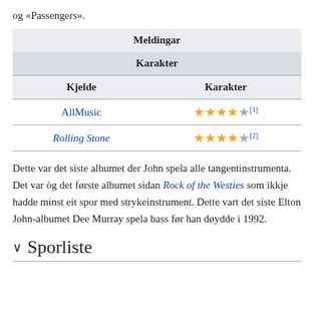og «Passengers».
| Meldingar |  |
| --- | --- |
| Karakter |  |
| Kjelde | Karakter |
| AllMusic | ★★★★★[1] |
| Rolling Stone | ★★★★★[2] |
Dette var det siste albumet der John spela alle tangentinstrumenta. Det var òg det første albumet sidan Rock of the Westies som ikkje hadde minst eit spor med strykeinstrument. Dette vart det siste Elton John-albumet Dee Murray spela bass før han døydde i 1992.
Sporliste